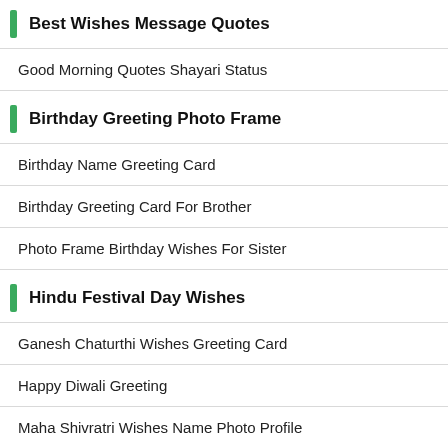Best Wishes Message Quotes
Good Morning Quotes Shayari Status
Birthday Greeting Photo Frame
Birthday Name Greeting Card
Birthday Greeting Card For Brother
Photo Frame Birthday Wishes For Sister
Hindu Festival Day Wishes
Ganesh Chaturthi Wishes Greeting Card
Happy Diwali Greeting
Maha Shivratri Wishes Name Photo Profile